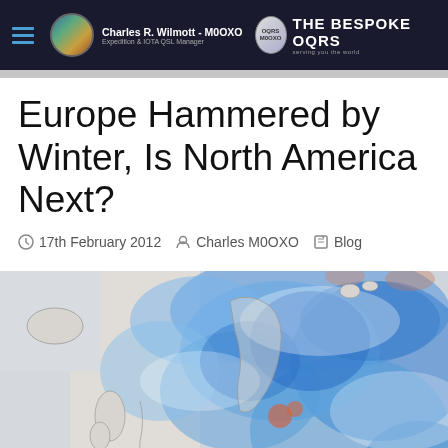Charles R. Wilmott - M0OXO | Expedition & IOTA QSL Manager | THE BESPOKE OQRS
Europe Hammered by Winter, Is North America Next?
17th February 2012  Charles M0OXO  Blog
[Figure (map): Satellite temperature anomaly map of Europe showing cold (blue) and warm (orange/red) regions. Large portions of northern, central, and eastern Europe are covered in blue indicating below-average temperatures. Some coastal and southern areas show slight warm anomalies in orange/pink.]